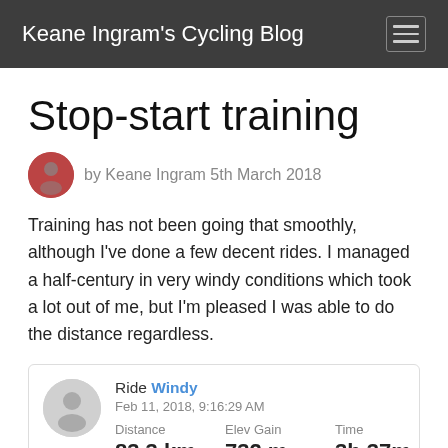Keane Ingram's Cycling Blog
Stop-start training
by Keane Ingram 5th March 2018
Training has not been going that smoothly, although I've done a few decent rides. I managed a half-century in very windy conditions which took a lot out of me, but I'm pleased I was able to do the distance regardless.
|  | Ride Windy | Feb 11, 2018, 9:16:29 AM | Distance | Elev Gain | Time |
| --- | --- | --- | --- | --- | --- |
|  |  |  | 83.3 km | 732 m | 3h 37m |